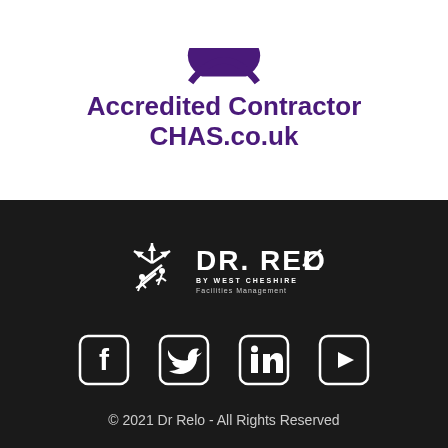[Figure (logo): CHAS Accredited Contractor logo with purple semicircle shape at top and text 'Accredited Contractor CHAS.co.uk' in bold purple]
[Figure (logo): Dr. Relo by West Cheshire Facilities Management logo in white on black background with starburst icon]
[Figure (infographic): Social media icons row: Facebook, Twitter, LinkedIn, YouTube — white on black]
© 2021 Dr Relo - All Rights Reserved